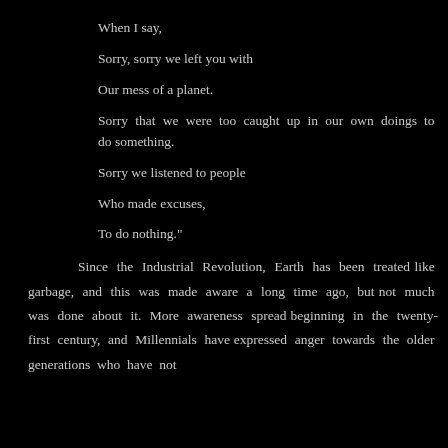When I say,
Sorry, sorry we left you with
Our mess of a planet.
Sorry that we were too caught up in our own doings to do something.
Sorry we listened to people
Who made excuses,
To do nothing."
Since the Industrial Revolution, Earth has been treated like garbage, and this was made aware a long time ago, but not much was done about it. More awareness spread beginning in the twenty-first century, and Millennials have expressed anger towards the older generations who have not